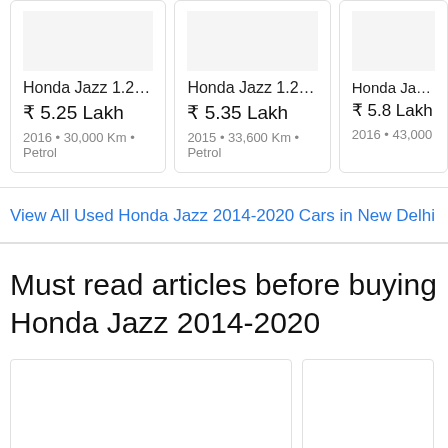[Figure (other): Car listing card: Honda Jazz 1.2 S ..., ₹ 5.25 Lakh, 2016 • 30,000 Km • Petrol]
[Figure (other): Car listing card: Honda Jazz 1.2 V i..., ₹ 5.35 Lakh, 2015 • 33,600 Km • Petrol]
[Figure (other): Car listing card: Honda Jazz..., ₹ 5.8 Lakh, 2016 • 43,000 K...]
View All Used Honda Jazz 2014-2020 Cars in New Delhi
Must read articles before buying Honda Jazz 2014-2020
[Figure (other): Article card placeholder (large)]
[Figure (other): Article card placeholder (small)]